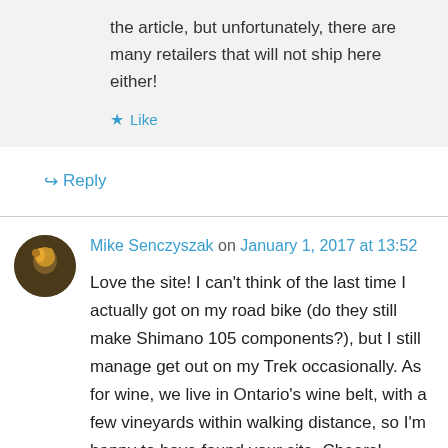the article, but unfortunately, there are many retailers that will not ship here either!
★ Like
↪ Reply
Mike Senczyszak on January 1, 2017 at 13:52
Love the site! I can't think of the last time I actually got on my road bike (do they still make Shimano 105 components?), but I still manage get out on my Trek occasionally. As for wine, we live in Ontario's wine belt, with a few vineyards within walking distance, so I'm happy to have found your site. Cheers!
★ Like